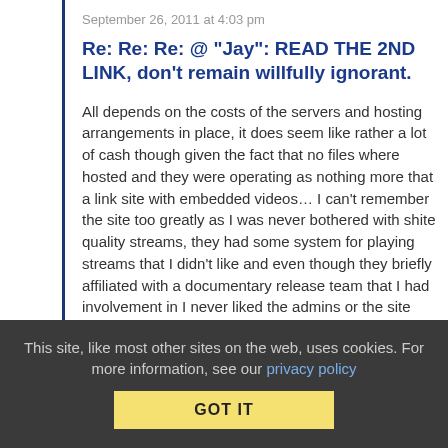September 26, 2011 at 4:03 pm
Re: Re: Re: @ "Jay": READ THE 2ND LINK, don't remain willfully ignorant.
All depends on the costs of the servers and hosting arrangements in place, it does seem like rather a lot of cash though given the fact that no files where hosted and they were operating as nothing more that a link site with embedded videos… I can't remember the site too greatly as I was never bothered with shite quality streams, they had some system for playing streams that I didn't like and even though they briefly affiliated with a documentary release team that I had involvement in I never liked the admins or the site much.
This site, like most other sites on the web, uses cookies. For more information, see our privacy policy
GOT IT